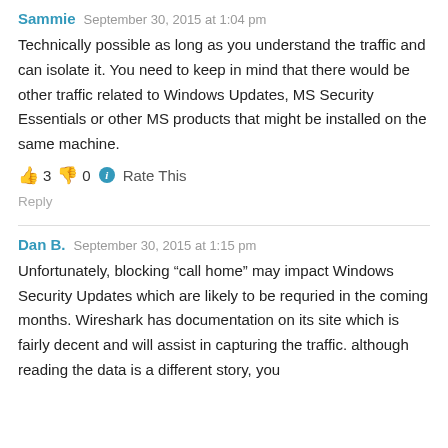Sammie   September 30, 2015 at 1:04 pm
Technically possible as long as you understand the traffic and can isolate it. You need to keep in mind that there would be other traffic related to Windows Updates, MS Security Essentials or other MS products that might be installed on the same machine.
👍 3 👎 0 ℹ Rate This
Reply
Dan B.   September 30, 2015 at 1:15 pm
Unfortunately, blocking “call home” may impact Windows Security Updates which are likely to be requried in the coming months. Wireshark has documentation on its site which is fairly decent and will assist in capturing the traffic. although reading the data is a different story, you